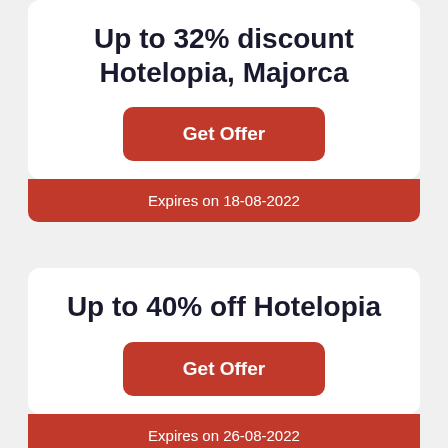Up to 32% discount Hotelopia, Majorca
Get Offer
Expires on 18-08-2022
Up to 40% off Hotelopia
Get Offer
Expires on 26-08-2022